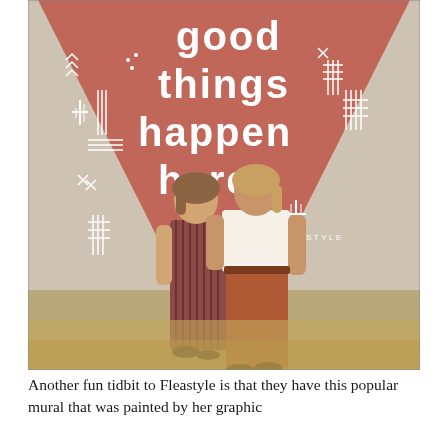[Figure (photo): Two young women standing in front of a large painted mural on a brick wall. The mural has a terracotta/rust-colored triangular or diamond shape with white text reading 'good things happen here' and decorative geometric patterns. The word 'FLEASTYLE' appears on the mural. One woman wears a striped jumpsuit and the other wears a white tank top and rust-colored wide-leg pants.]
Another fun tidbit to Fleastyle is that they have this popular mural that was painted by her graphic